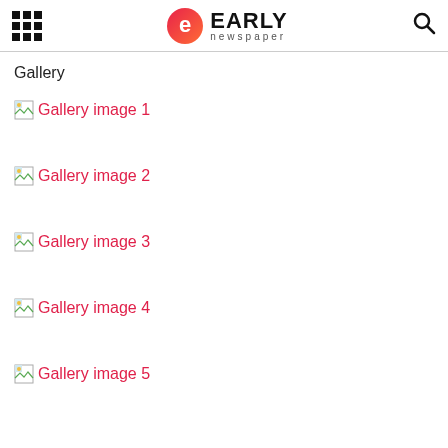EARLY newspaper
Gallery
Gallery image 1
Gallery image 2
Gallery image 3
Gallery image 4
Gallery image 5